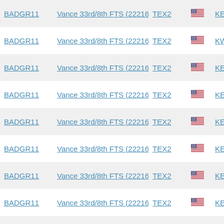| Callsign | Location | Class | Country | Licensee |
| --- | --- | --- | --- | --- |
| BADGR11 | Vance 33rd/8th FTS (22216) | TEX2 | [US flag] | KEND Va... |
| BADGR11 | Vance 33rd/8th FTS (22216) | TEX2 | [US flag] | KEND Va... |
| BADGR11 | Vance 33rd/8th FTS (22216) | TEX2 | [US flag] | KWDG En... |
| BADGR11 | Vance 33rd/8th FTS (22216) | TEX2 | [US flag] | KEND Va... |
| BADGR11 | Vance 33rd/8th FTS (22216) | TEX2 | [US flag] | KEND Va... |
| BADGR11 | Vance 33rd/8th FTS (22216) | TEX2 | [US flag] | KEND Va... |
| BADGR11 | Vance 33rd/8th FTS (22216) | TEX2 | [US flag] | KEND Va... |
| BADGR11 | Vance 33rd/8th FTS (22216) | TEX2 | [US flag] | KEND Va... |
| BADGR11 | Vance 33rd/8th FTS (22216) | TEX2 | [US flag] | KEND Va... |
| BADGR11 | Vance 33rd/8th FTS (22216) | TEX2 | [US flag] | KEND Va... |
| BADGR11 | Vance 33rd/8th FTS (22216) | TEX2 | [US flag] | KEND Va... |